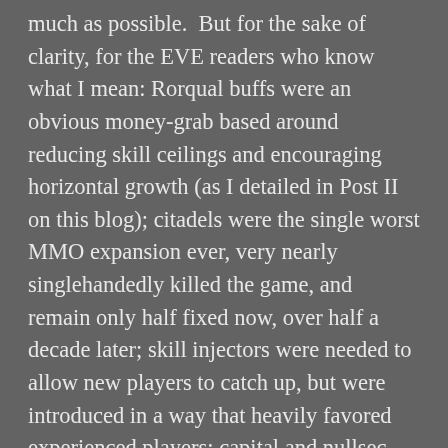much as possible.  But for the sake of clarity, for the EVE readers who know what I mean: Rorqual buffs were an obvious money-grab based around reducing skill ceilings and encouraging horizontal growth (as I detailed in Post II on this blog); citadels were the single worst MMO expansion ever, very nearly singlehandedly killed the game, and remain only half fixed now, over half a decade later; skill injectors were needed to allow new players to catch up, but were introduced in a way that heavily favored experienced players; capital and nullsec infrastructure changes made condensing into tiny areas possible, leaving much of the map fallow and reducing gate traffic.  Moreover, the game moved from an achievement-oriented culture to an accumulation-oriented one, and in doing so welded itself to designs not just predatory and